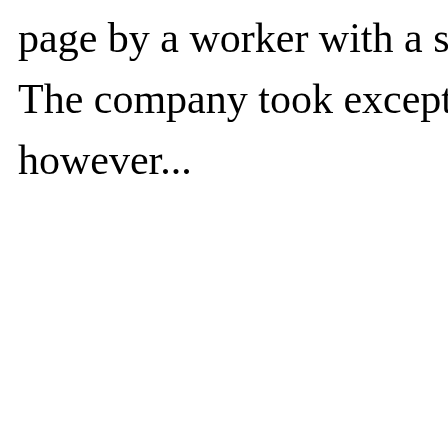page by a worker with a sense of hum… The company took exception to it, however...